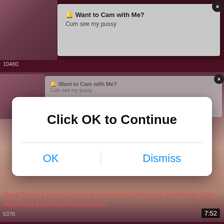[Figure (screenshot): Thumbnail image of a woman on a bed background]
🔔 Want to Cam with Me?
Cum see my pussy
10480
[Figure (screenshot): Video thumbnail faded in background showing notification popup overlay]
🔔 Want to Cam with Me?
Cum see my pussy
Click OK to Continue
OK
Dismiss
[Figure (screenshot): Adult video thumbnail showing intimate scene]
7:52
Chloe Temple & Evelyn Claire & Seth Gamble in Threesome To Make Her Cum - NubileFilms BravoTube female orgasm
5376